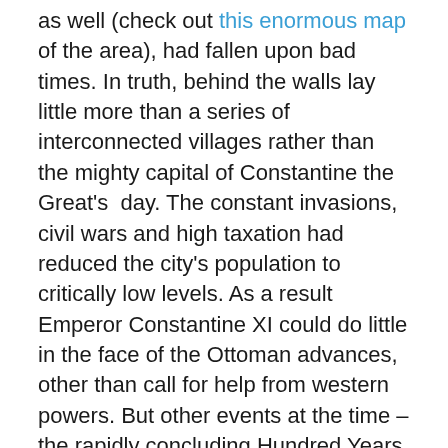as well (check out this enormous map of the area), had fallen upon bad times. In truth, behind the walls lay little more than a series of interconnected villages rather than the mighty capital of Constantine the Great's day. The constant invasions, civil wars and high taxation had reduced the city's population to critically low levels. As a result Emperor Constantine XI could do little in the face of the Ottoman advances, other than call for help from western powers. But other events at the time – the rapidly concluding Hundred Years War, internal disputes in Germany, the reconquista in Spain, Polish defeats to the Ottomans, prevented any relief from coming.
Mehmed II still viewed possible European intervention as a threat and moved to neutralise such a development, building an immense fortress, Rumeli Hasari, several miles north of Constantinople on the European side of the